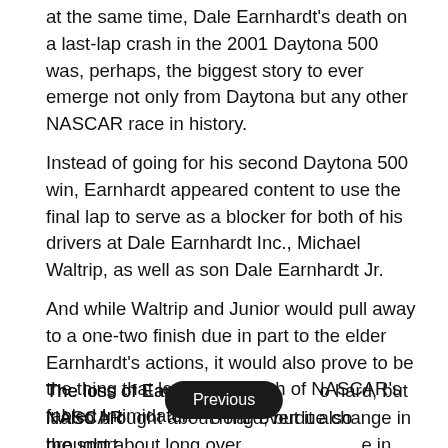at the same time, Dale Earnhardt's death on a last-lap crash in the 2001 Daytona 500 was, perhaps, the biggest story to ever emerge not only from Daytona but any other NASCAR race in history.
Instead of going for his second Daytona 500 win, Earnhardt appeared content to use the final lap to serve as a blocker for both of his drivers at Dale Earnhardt Inc., Michael Waltrip, as well as son Dale Earnhardt Jr.
And while Waltrip and Junior would pull away to a one-two finish due in part to the elder Earnhardt's actions, it would also prove to be the thing that led to the death of NASCAR's fabled Intimidator.
The loss of Earnhardt hit NASCAR so hard, but it also brought about long overdue change in the sport. Earnhardt was the fourth driver to be killed in a NASCAR